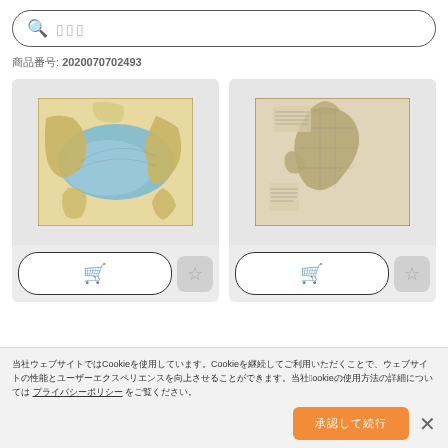[Figure (screenshot): Search bar with magnifying glass icon and placeholder text (Japanese characters)]
商品番号: 2020070702493
[Figure (map): Vintage map showing the North Atlantic Ocean with Europe on the right and North America on the left, colored in blue and yellow/brown tones]
[Figure (map): Vintage black and white map showing England and Wales with detailed county borders]
当社ウェブサイトではCookieを使用しています。Cookieを継続してご利用いただくことで、ウェブサイトの性能とユーザーエクスペリエンスを向上させることができます。当社のCookieの使用方法の詳細については プライバシーポリシー をご覧ください。
承認して続行